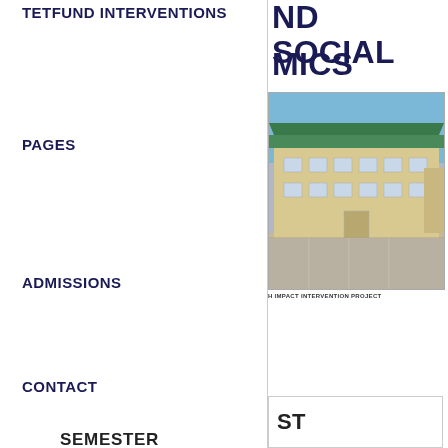TETFUND INTERVENTIONS
ND SOCIAL MICS
[Figure (photo): Two-storey building with green roof, cream walls, and large windows, likely a university or college facility. Paved parking area in front. Sky visible in background.]
H IMPACT INTERVENTION PROJECT
PAGES
ADMISSIONS
CONTACT
ST
SEMESTER